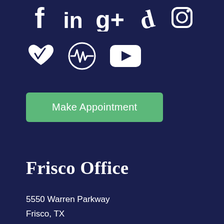[Figure (other): Social media icons row 1: Facebook, LinkedIn, Google+, Yelp, Instagram]
[Figure (other): Social media icons row 2: Healthgrades heart, pulse/vitals circle, YouTube play button]
Make Appointment
Frisco Office
5550 Warren Parkway
Frisco, TX
75034